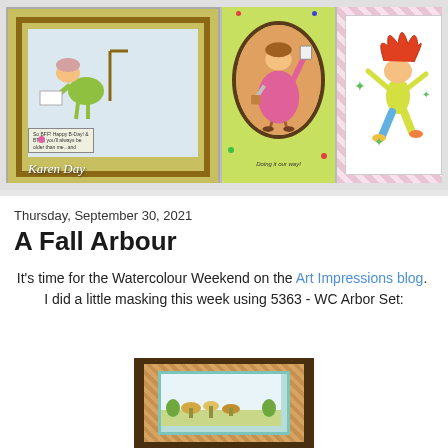[Figure (photo): Banner image showing three handmade greeting cards by Karen Day: left card features an elderly woman hunched over reading, center card shows a woman in an oval frame, right card shows a colorful dancing figure. Text 'Karen Day' visible on left card.]
Thursday, September 30, 2021
A Fall Arbour
It's time for the Watercolour Weekend on the Art Impressions blog.  I did a little masking this week using 5363 - WC Arbor Set:
[Figure (photo): Partial image of a handmade card with a brown background, orange patterned mat, and a teal/light blue inner mat showing a watercolour scene with flowers and plants at the bottom.]